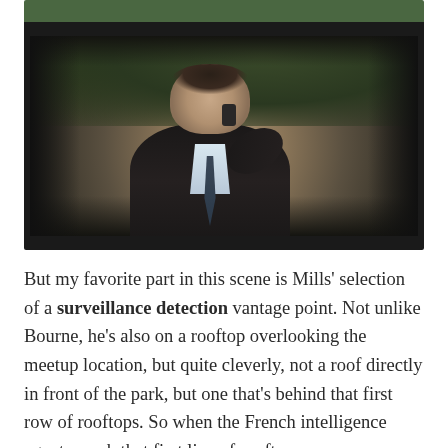[Figure (photo): Movie still showing a man in a dark coat talking on a phone outdoors, with green foliage in the background. Scene appears to be from a thriller/spy film.]
But my favorite part in this scene is Mills' selection of a surveillance detection vantage point. Not unlike Bourne, he's also on a rooftop overlooking the meetup location, but quite cleverly, not a roof directly in front of the park, but one that's behind that first row of rooftops. So when the French intelligence agents reach that first line of rooftops